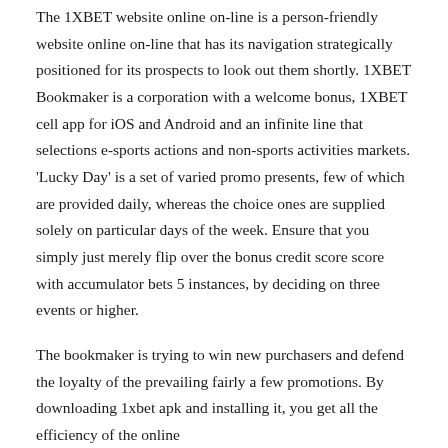The 1XBET website online on-line is a person-friendly website online on-line that has its navigation strategically positioned for its prospects to look out them shortly. 1XBET Bookmaker is a corporation with a welcome bonus, 1XBET cell app for iOS and Android and an infinite line that selections e-sports actions and non-sports activities markets. 'Lucky Day' is a set of varied promo presents, few of which are provided daily, whereas the choice ones are supplied solely on particular days of the week. Ensure that you simply just merely flip over the bonus credit score score with accumulator bets 5 instances, by deciding on three events or higher.
The bookmaker is trying to win new purchasers and defend the loyalty of the prevailing fairly a few promotions. By downloading 1xbet apk and installing it, you get all the efficiency of the online